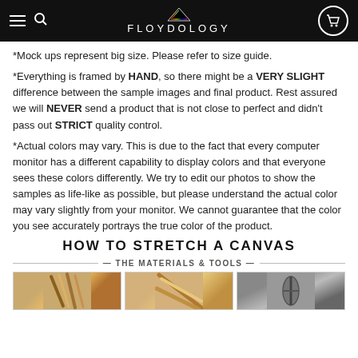FLOYDOLOGY
*Mock ups represent big size. Please refer to size guide.
*Everything is framed by HAND, so there might be a VERY SLIGHT difference between the sample images and final product. Rest assured we will NEVER send a product that is not close to perfect and didn't pass out STRICT quality control.
*Actual colors may vary. This is due to the fact that every computer monitor has a different capability to display colors and that everyone sees these colors differently. We try to edit our photos to show the samples as life-like as possible, but please understand the actual color may vary slightly from your monitor. We cannot guarantee that the color you see accurately portrays the true color of the product.
HOW TO STRETCH A CANVAS
— THE MATERIALS & TOOLS —
[Figure (photo): Three photos showing materials and tools for stretching a canvas: paint brushes, wood stretcher bars, and pliers]